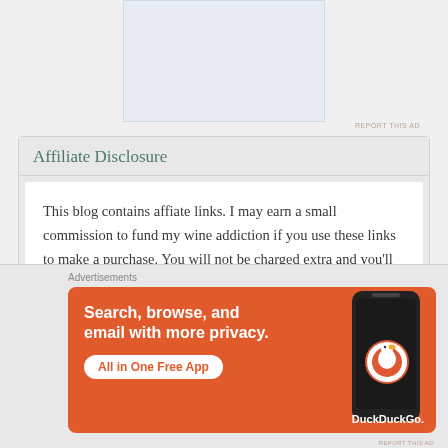[Figure (other): Top advertisement placeholder – light blue-grey rectangle]
Affiliate Disclosure
This blog contains affiate links. I may earn a small commission to fund my wine addiction if you use these links to make a purchase. You will not be charged extra and you'll keep my wine appreciation top notch.  Thank you for visiting.
Advertisements
[Figure (screenshot): DuckDuckGo advertisement on orange background: 'Search, browse, and email with more privacy. All in One Free App' with DuckDuckGo logo and phone graphic]